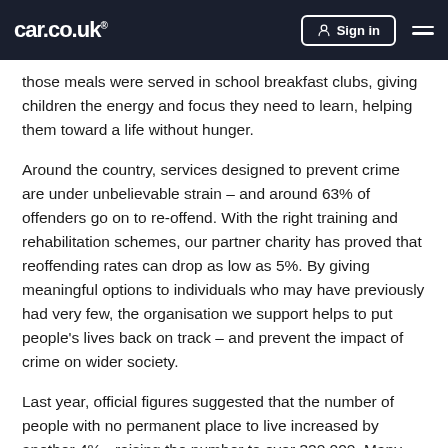car.co.uk | Sign in
those meals were served in school breakfast clubs, giving children the energy and focus they need to learn, helping them toward a life without hunger.
Around the country, services designed to prevent crime are under unbelievable strain – and around 63% of offenders go on to re-offend. With the right training and rehabilitation schemes, our partner charity has proved that reoffending rates can drop as low as 5%. By giving meaningful options to individuals who may have previously had very few, the organisation we support helps to put people's lives back on track – and prevent the impact of crime on wider society.
Last year, official figures suggested that the number of people with no permanent place to live increased by another 4% - raising the number to over 320,000. Many housing charities say the real figure could be much higher.